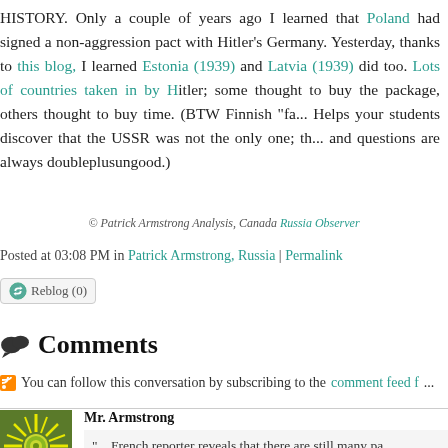HISTORY. Only a couple of years ago I learned that Poland had signed a non-aggression pact with Hitler's Germany. Yesterday, thanks to this blog, I learned Estonia (1939) and Latvia (1939) did too. Lots of countries taken in by Hitler; some thought to buy the package, others thought to buy time. (BTW Finnish "fa... Helps your students discover that the USSR was not the only one; that doubts and questions are always doubleplusungood.)
© Patrick Armstrong Analysis, Canada Russia Observer
Posted at 03:08 PM in Patrick Armstrong, Russia | Permalink
Reblog (0)
Comments
You can follow this conversation by subscribing to the comment feed f...
Mr. Armstrong
"....French reporter reveals that there are still many pa... human remains at the site. Also shows photo of what...